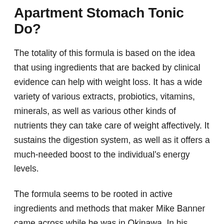Apartment Stomach Tonic Do?
The totality of this formula is based on the idea that using ingredients that are backed by clinical evidence can help with weight loss. It has a wide variety of various extracts, probiotics, vitamins, minerals, as well as various other kinds of nutrients they can take care of weight affectively. It sustains the digestion system, as well as it offers a much-needed boost to the individual's energy levels.
The formula seems to be rooted in active ingredients and methods that maker Mike Banner came across while he was in Okinawa. In his journeys, he came across a drink that had the ability to remove excess fat as well as supply